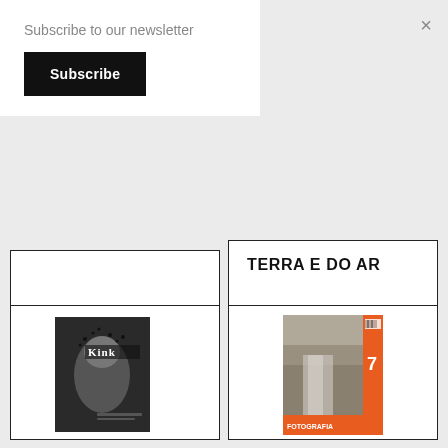Subscribe to our newsletter
Subscribe
×
TERRA E DO AR
€22.00
[Figure (photo): Magazine cover of 'Kink' showing black and white photo of person with birds]
[Figure (photo): Magazine cover showing rocky waterfall scene with orange spine, number 7, and text 'CONTEMPORÂNEA']